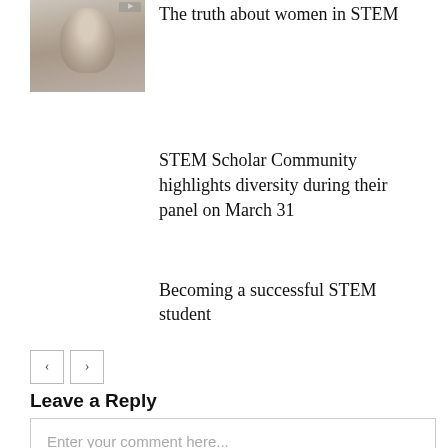[Figure (photo): Thumbnail photo of a person (face visible), grayscale/muted tones]
The truth about women in STEM
STEM Scholar Community highlights diversity during their panel on March 31
Becoming a successful STEM student
< >
Leave a Reply
Enter your comment here...